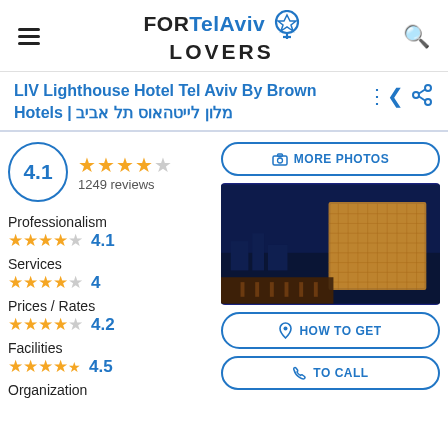FOR Tel Aviv LOVERS
LIV Lighthouse Hotel Tel Aviv By Brown Hotels | מלון לייטהאוס תל אביב
4.1 rating, 1249 reviews
Professionalism ★★★★☆ 4.1
Services ★★★★☆ 4
Prices / Rates ★★★★☆ 4.2
Facilities ★★★★½ 4.5
Organization
[Figure (photo): Hotel rooftop bar at night with illuminated facade and city skyline in background]
MORE PHOTOS
HOW TO GET
TO CALL